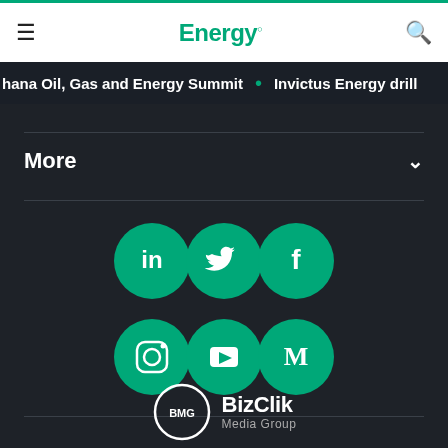Energy. (navigation bar with hamburger menu and search)
hana Oil, Gas and Energy Summit  •  Invictus Energy drill
More
[Figure (infographic): Six green circular social media icons arranged in two rows of three: LinkedIn, Twitter, Facebook (top row); Instagram, YouTube, Medium (bottom row)]
[Figure (logo): BizClik Media Group logo: BMG in a white circle next to BizClik Media Group text in white]